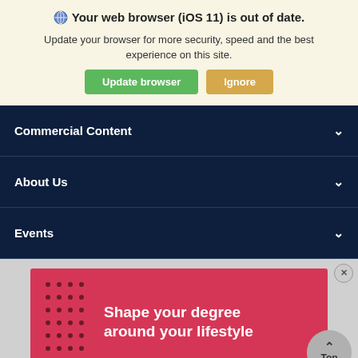Your web browser (iOS 11) is out of date.
Update your browser for more security, speed and the best experience on this site.
Update browser   Ignore
Commercial Content
About Us
Events
[Figure (illustration): Red advertisement banner with dot grid pattern on left and text 'Shape your degree around your lifestyle' in white on right]
Shape your degree around your lifestyle